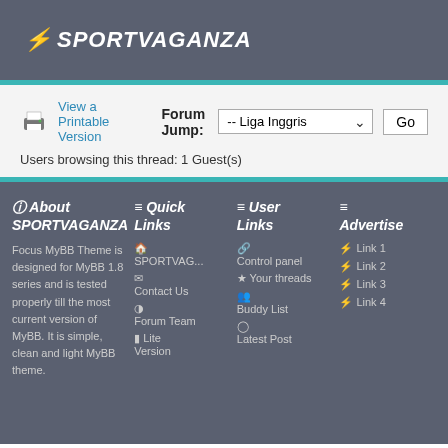⚡ SPORTVAGANZA
[Figure (screenshot): Printer icon for printable version link]
View a Printable Version   Forum Jump: -- Liga Inggris   Go
Users browsing this thread: 1 Guest(s)
⊙ About SPORTVAGANZLinks
≡ Quick Links
≡ User Links
≡ Advertise
Focus MyBB Theme is designed for MyBB 1.8 series and is tested properly till the most current version of MyBB. It is simple, clean and light MyBB theme.
🏠 SPORTVAG...
✉ Contact Us
🛡 Forum Team
☰ Lite Version
🔗 Control panel
★ Your threads
👥 Buddy List
○ Latest Post
⚡ Link 1
⚡ Link 2
⚡ Link 3
⚡ Link 4